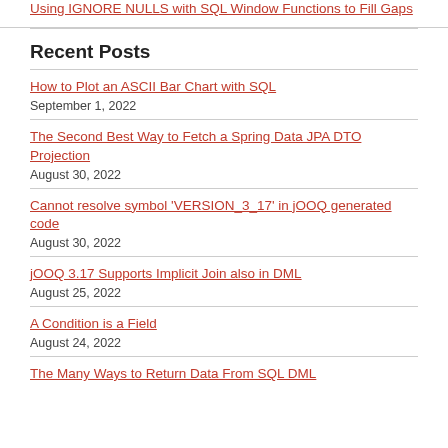Using IGNORE NULLS with SQL Window Functions to Fill Gaps
Recent Posts
How to Plot an ASCII Bar Chart with SQL
September 1, 2022
The Second Best Way to Fetch a Spring Data JPA DTO Projection
August 30, 2022
Cannot resolve symbol 'VERSION_3_17' in jOOQ generated code
August 30, 2022
jOOQ 3.17 Supports Implicit Join also in DML
August 25, 2022
A Condition is a Field
August 24, 2022
The Many Ways to Return Data From SQL DML